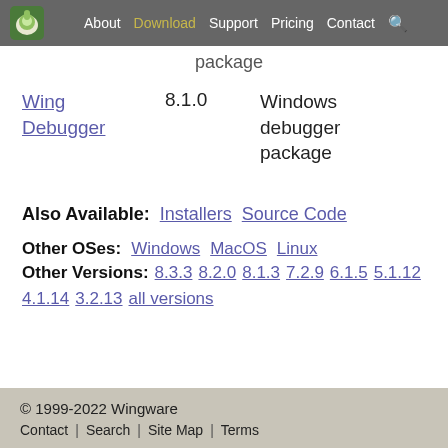About  Download  Support  Pricing  Contact  🔍
package
| Product | Version | Description |
| --- | --- | --- |
| Wing Debugger | 8.1.0 | Windows debugger package |
Also Available:  Installers  Source Code
Other OSes:  Windows  MacOS  Linux
Other Versions:  8.3.3  8.2.0  8.1.3  7.2.9  6.1.5  5.1.12  4.1.14  3.2.13  all versions
© 1999-2022 Wingware
Contact | Search | Site Map | Terms